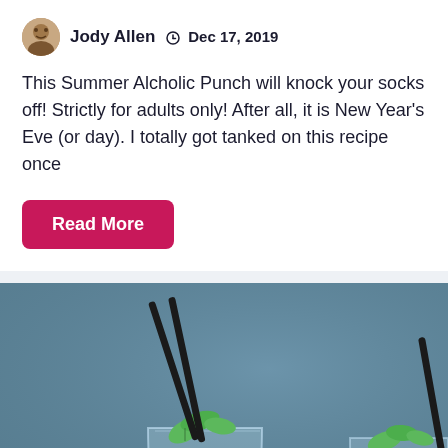Jody Allen  Dec 17, 2019
This Summer Alcholic Punch will knock your socks off! Strictly for adults only! After all, it is New Year's Eve (or day). I totally got tanked on this recipe once
Read More
[Figure (photo): Two glasses of mojito cocktails with mint leaves, cucumber slices, and black straws against a blue-grey background]